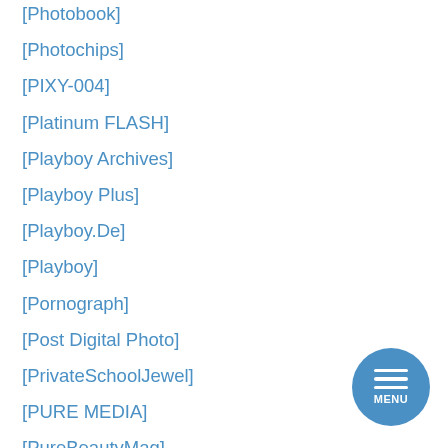[Photobook]
[Photochips]
[PIXY-004]
[Platinum FLASH]
[Playboy Archives]
[Playboy Plus]
[Playboy.De]
[Playboy]
[Pornograph]
[Post Digital Photo]
[PrivateSchoolJewel]
[PURE MEDIA]
[PureBeautyMag]